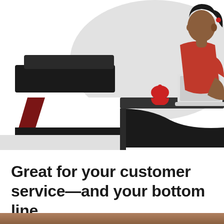[Figure (illustration): Illustrated scene of a woman with dark hair in a red top working at a reception/service desk with a laptop. A red service bell sits on the dark counter. On the left are dark monitor/printer shapes and a dark red folder/document. The background has a light gray organic shape. Flat, modern illustration style.]
Great for your customer service—and your bottom line
[Figure (photo): Partial photo visible at the bottom edge, appears to show a counter or tabletop surface.]